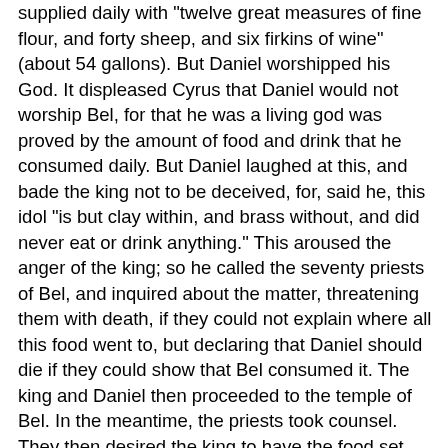supplied daily with "twelve great measures of fine flour, and forty sheep, and six firkins of wine" (about 54 gallons). But Daniel worshipped his God. It displeased Cyrus that Daniel would not worship Bel, for that he was a living god was proved by the amount of food and drink that he consumed daily. But Daniel laughed at this, and bade the king not to be deceived, for, said he, this idol "is but clay within, and brass without, and did never eat or drink anything." This aroused the anger of the king; so he called the seventy priests of Bel, and inquired about the matter, threatening them with death, if they could not explain where all this food went to, but declaring that Daniel should die if they could show that Bel consumed it. The king and Daniel then proceeded to the temple of Bel. In the meantime, the priests took counsel. They then desired the king to have the food set forth as usual on the god's table, saying that if it was not all consumed by Bel by the next morning they would be prepared to die, but if it was all consumed, then Daniel must die. Not that they feared anything for themselves, because they had a trap-door under the table through which they were in the habit of entering the temple and carrying off the food and drink. They then retired, and the king caused the table of Bel to be spread. But Daniel, with the king,'s